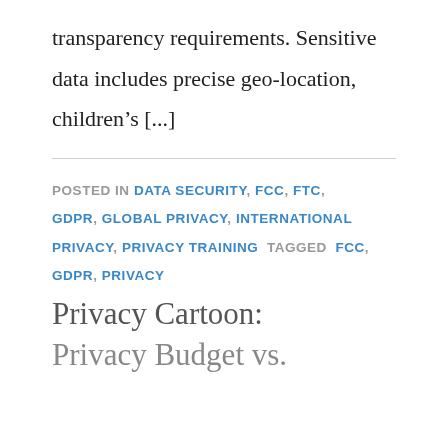transparency requirements.  Sensitive data includes precise geo-location, children's [...]
POSTED IN DATA SECURITY, FCC, FTC, GDPR, GLOBAL PRIVACY, INTERNATIONAL PRIVACY, PRIVACY TRAINING  TAGGED  FCC, GDPR, PRIVACY
Privacy Cartoon: Privacy Budget vs.